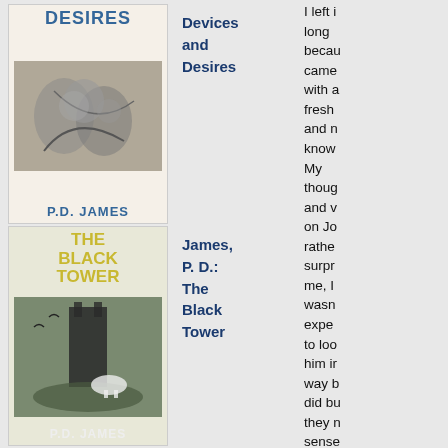[Figure (illustration): Book cover of 'Devices and Desires' by P.D. James, black and white illustration]
Devices and Desires
[Figure (illustration): Book cover of 'The Black Tower' by P.D. James, illustrated with dark tower and nature scene in green tones]
James, P. D.: The Black Tower
[Figure (illustration): Book cover of 'Battle of Brothers' by Robert Lacey, red cover with two men in military/formal wear]
Lacey, Robert: Battle of Brothers
I left i long becau came with a fresh and n know My thoug and v on Jo rathe surpr me, I wasn expe to loo him i way l did b they r sense